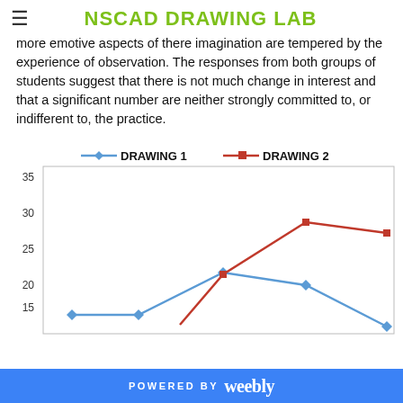NSCAD DRAWING LAB
more emotive aspects of there imagination are tempered by the experience of observation. The responses from both groups of students suggest that there is not much change in interest and that a significant number are neither strongly committed to, or indifferent to, the practice.
[Figure (line-chart): ]
POWERED BY weebly